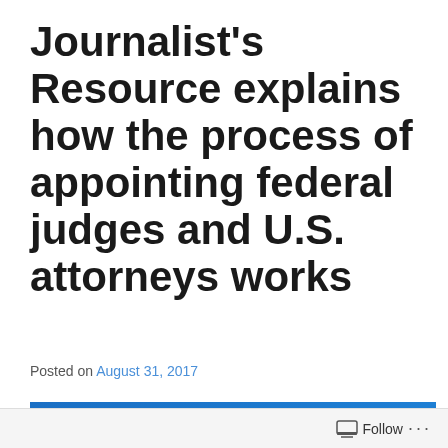Journalist's Resource explains how the process of appointing federal judges and U.S. attorneys works
Posted on August 31, 2017
[Figure (photo): Photo of golden scales of justice against a blue background]
Follow ...